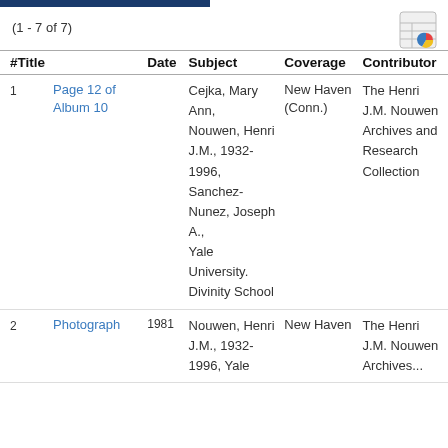(1 - 7 of 7)
| # | Title | Date | Subject | Coverage | Contributor |
| --- | --- | --- | --- | --- | --- |
| 1 | Page 12 of Album 10 |  | Cejka, Mary Ann,
Nouwen, Henri J.M., 1932-1996,
Sanchez-Nunez, Joseph A.,
Yale University. Divinity School | New Haven (Conn.) | The Henri J.M. Nouwen Archives and Research Collection |
| 2 | Photograph | 1981 | Nouwen, Henri J.M., 1932-1996,
Yale... | New Haven | The Henri J.M. Nouwen Archives... |